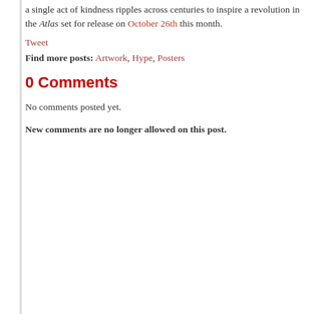a single act of kindness ripples across centuries to inspire a revolution in the Atlas set for release on October 26th this month.
Tweet
Find more posts: Artwork, Hype, Posters
0 Comments
No comments posted yet.
New comments are no longer allowed on this post.